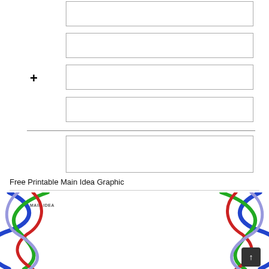[Figure (other): Graphic organizer worksheet with four input boxes, a plus sign, a horizontal divider line, a MAIN IDEA label, and a main idea box below]
Free Printable Main Idea Graphic
[Figure (illustration): Two DNA double helix decorative borders on left and right sides of the page, with intertwining blue, green, red, and lavender strands]